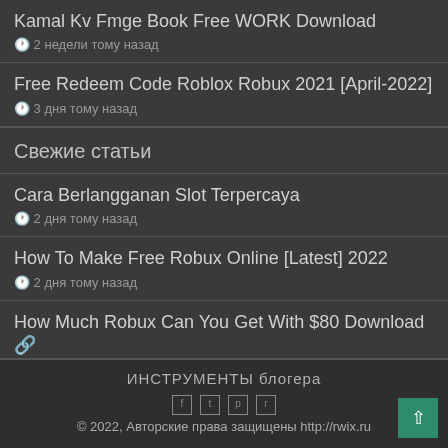Kamal Kv Fmge Book Free WORK Download
🕐 2 недели тому назад
Free Redeem Code Roblox Robux 2021 [April-2022]
🕐 3 дня тому назад
Свежие статьи
Cara Berlangganan Slot Terpercaya
🕐 2 дня тому назад
How To Make Free Robux Online [Latest] 2022
🕐 2 дня тому назад
How Much Robux Can You Get With $80 Download 🔗
🕐 2 дня тому назад
ИНСТРУМЕНТЫ блогера
© 2022, Авторские права защищены http://rwix.ru